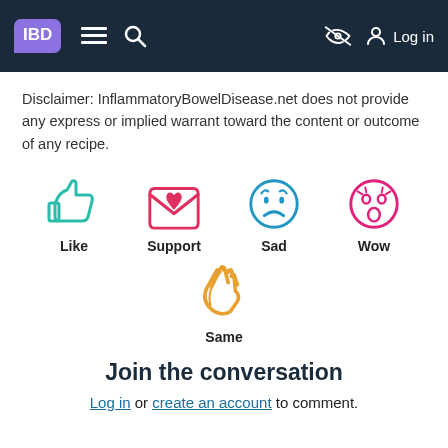IBD — navigation bar with logo, menu, search, and Log in
Disclaimer: InflammatoryBowelDisease.net does not provide any express or implied warrant toward the content or outcome of any recipe.
[Figure (infographic): Reaction icons: Like (teal thumbs up), Support (red envelope with heart), Sad (blue sad face emoji), Wow (pink surprised face emoji), Same (orange waving hand)]
Join the conversation
Log in or create an account to comment.